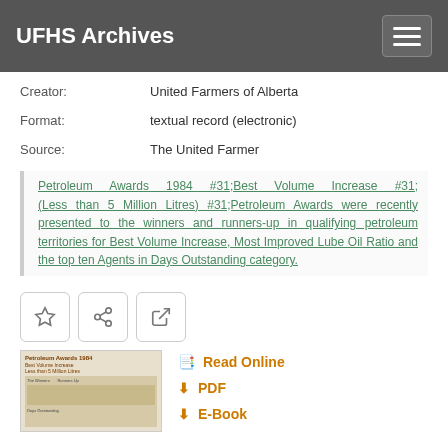UFHS Archives
Creator:	United Farmers of Alberta
Format:	textual record (electronic)
Source:	The United Farmer
Petroleum Awards 1984 #31;Best Volume Increase #31;(Less than 5 Million Litres) #31;Petroleum Awards were recently presented to the winners and runners-up in qualifying petroleum territories for Best Volume Increase, Most Improved Lube Oil Ratio and the top ten Agents in Days Outstanding category.
[Figure (screenshot): Thumbnail image of Petroleum Awards 1984 document page]
Read Online
PDF
E-Book